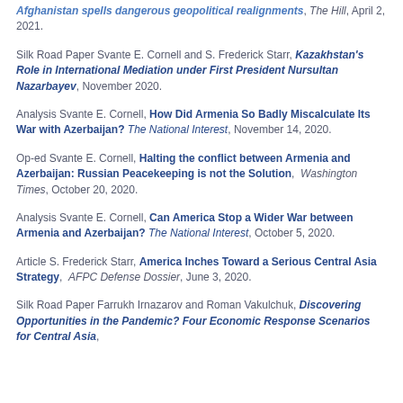Afghanistan spells dangerous geopolitical realignments, The Hill, April 2, 2021.
Silk Road Paper Svante E. Cornell and S. Frederick Starr, Kazakhstan's Role in International Mediation under First President Nursultan Nazarbayev, November 2020.
Analysis Svante E. Cornell, How Did Armenia So Badly Miscalculate Its War with Azerbaijan? The National Interest, November 14, 2020.
Op-ed Svante E. Cornell, Halting the conflict between Armenia and Azerbaijan: Russian Peacekeeping is not the Solution, Washington Times, October 20, 2020.
Analysis Svante E. Cornell, Can America Stop a Wider War between Armenia and Azerbaijan? The National Interest, October 5, 2020.
Article S. Frederick Starr, America Inches Toward a Serious Central Asia Strategy, AFPC Defense Dossier, June 3, 2020.
Silk Road Paper Farrukh Irnazarov and Roman Vakulchuk, Discovering Opportunities in the Pandemic? Four Economic Response Scenarios for Central Asia,